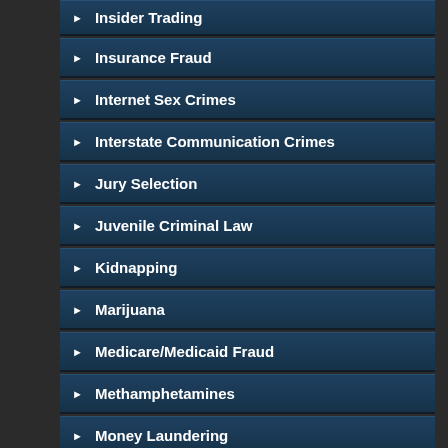Insider Trading
Insurance Fraud
Internet Sex Crimes
Interstate Communication Crimes
Jury Selection
Juvenile Criminal Law
Kidnapping
Marijuana
Medicare/Medicaid Fraud
Methamphetamines
Money Laundering
Mortgage Fruad